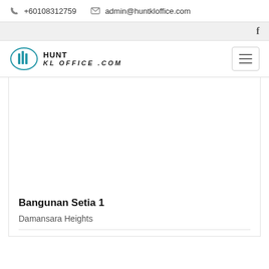+60108312759  admin@huntkloffice.com
[Figure (logo): Hunt KL Office logo with teal building icon and italic text]
Bangunan Setia 1
Damansara Heights